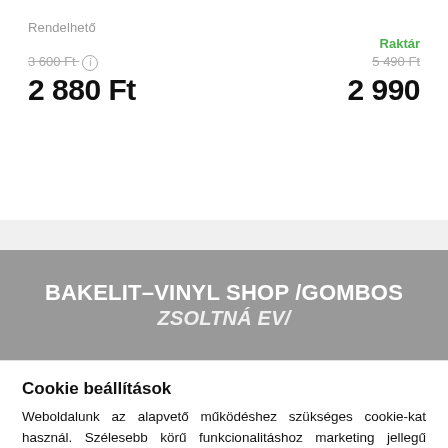Rendelhető
Raktár
3 600 Ft
5 490 Ft
2 880 Ft
2 990
[Figure (screenshot): Gray banner with white bold text: BAKELIT-VINYL SHOP /GOMBOS and partial text below]
Cookie beállítások
Weboldalunk az alapvető működéshez szükséges cookie-kat használ. Szélesebb körű funkcionalitáshoz marketing jellegű cookie-kat engedélyezhet, amivel elfogadja az Adatkezelési tájékoztatóban foglaltakat.
Nem engedélyezem
ENGEDÉLYEZEM